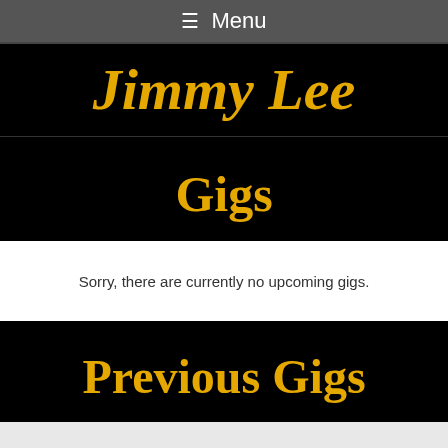≡ Menu
Jimmy Lee
Gigs
Sorry, there are currently no upcoming gigs.
Previous Gigs